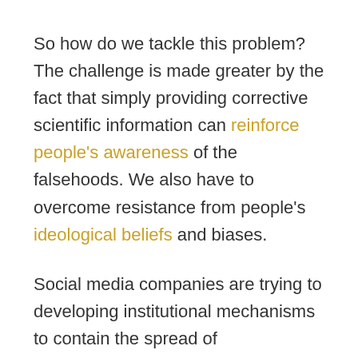So how do we tackle this problem? The challenge is made greater by the fact that simply providing corrective scientific information can reinforce people's awareness of the falsehoods. We also have to overcome resistance from people's ideological beliefs and biases.
Social media companies are trying to developing institutional mechanisms to contain the spread of misinformation. Responding to the new research, a YouTube spokesperson said: “Since this study was conducted in 2018, we’ve made hundreds of